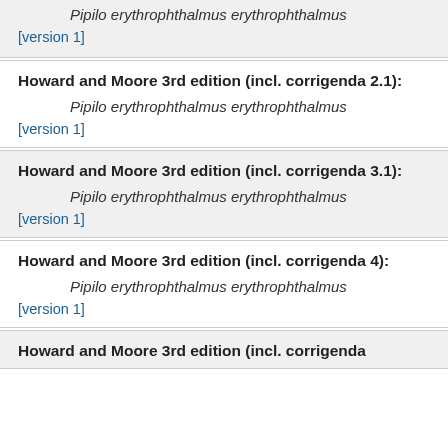Pipilo erythrophthalmus erythrophthalmus
[version 1]
Howard and Moore 3rd edition (incl. corrigenda 2.1):
Pipilo erythrophthalmus erythrophthalmus
[version 1]
Howard and Moore 3rd edition (incl. corrigenda 3.1):
Pipilo erythrophthalmus erythrophthalmus
[version 1]
Howard and Moore 3rd edition (incl. corrigenda 4):
Pipilo erythrophthalmus erythrophthalmus
[version 1]
Howard and Moore 3rd edition (incl. corrigenda